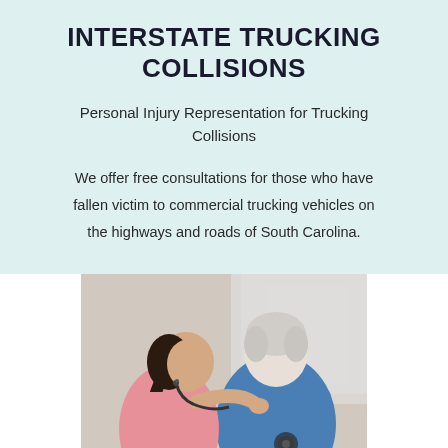INTERSTATE TRUCKING COLLISIONS
Personal Injury Representation for Trucking Collisions
We offer free consultations for those who have fallen victim to commercial trucking vehicles on the highways and roads of South Carolina.
[Figure (photo): A female nurse or healthcare provider in pink scrubs using a stethoscope on an elderly patient with white hair, seen from behind, wearing a blue polo shirt. The setting appears to be a medical or home care environment with a bright window in the background.]